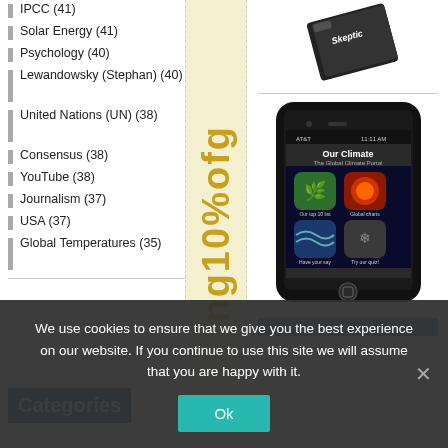IPCC (41)
Solar Energy (41)
Psychology (40)
Lewandowsky (Stephan) (40)
United Nations (UN) (38)
Consensus (38)
YouTube (38)
Journalism (37)
USA (37)
Global Temperatures (35)
[Figure (photo): Skeptic book/device image]
[Figure (photo): Smartphone showing 'Our Climate - The Global Climate Portal' app with app icons]
Categories
We use cookies to ensure that we give you the best experience on our website. If you continue to use this site we will assume that you are happy with it.